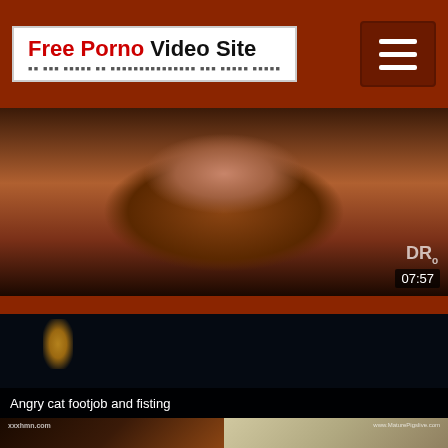Free Porno Video Site
[Figure (screenshot): Video thumbnail for Hot Japanese Anal Compilation Vol 104, duration 07:57]
Hot Japanese Anal Compilation Vol 104
[Figure (screenshot): Video thumbnail for Angry cat footjob and fisting, duration 06:07, watermark More at sicflics.com]
Angry cat footjob and fisting
[Figure (screenshot): Partial video thumbnail at bottom of page, watermarks xxxhmn.com and www.MaturePigslive.com]